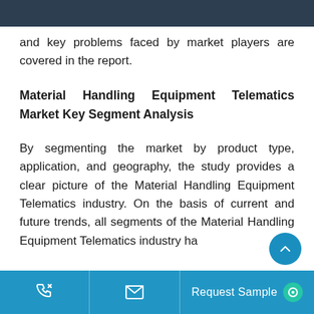and key problems faced by market players are covered in the report.
Material Handling Equipment Telematics Market Key Segment Analysis
By segmenting the market by product type, application, and geography, the study provides a clear picture of the Material Handling Equipment Telematics industry. On the basis of current and future trends, all segments of the Material Handling Equipment Telematics industry ha
Request Sample